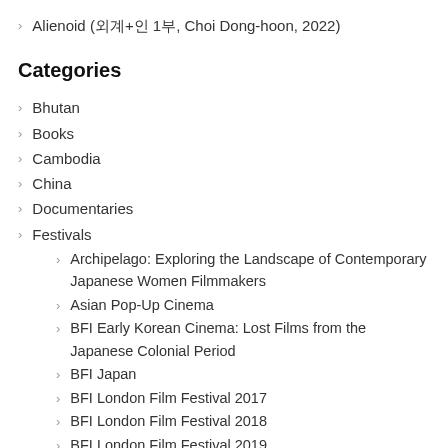Alienoid (외계+인 1부, Choi Dong-hoon, 2022)
Categories
Bhutan
Books
Cambodia
China
Documentaries
Festivals
Archipelago: Exploring the Landscape of Contemporary Japanese Women Filmmakers
Asian Pop-Up Cinema
BFI Early Korean Cinema: Lost Films from the Japanese Colonial Period
BFI Japan
BFI London Film Festival 2017
BFI London Film Festival 2018
BFI London Film Festival 2019